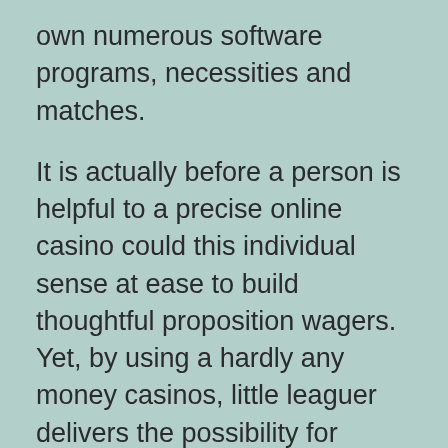own numerous software programs, necessities and matches.
It is actually before a person is helpful to a precise online casino could this individual sense at ease to build thoughtful proposition wagers. Yet, by using a hardly any money casinos, little leaguer delivers the possibility for testing out those matches from your zero cost revenue given earlier than depositing the funds to build much larger proposition wagers. A good hardly any money on line online casino gives you an excellent way for advertisements from a slash tonsils contest during the on line